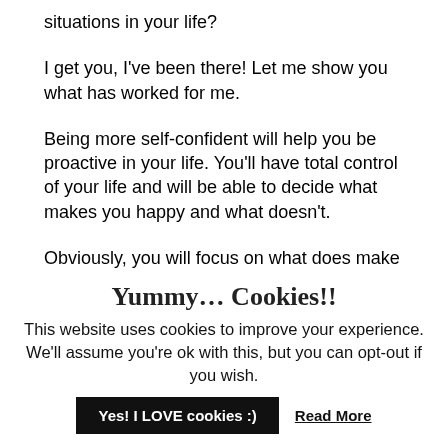situations in your life?
I get you, I've been there! Let me show you what has worked for me.
Being more self-confident will help you be proactive in your life. You'll have total control of your life and will be able to decide what makes you happy and what doesn't.
Obviously, you will focus on what does make
Yummy… Cookies!!
This website uses cookies to improve your experience. We'll assume you're ok with this, but you can opt-out if you wish.
Yes! I LOVE cookies :)
Read More